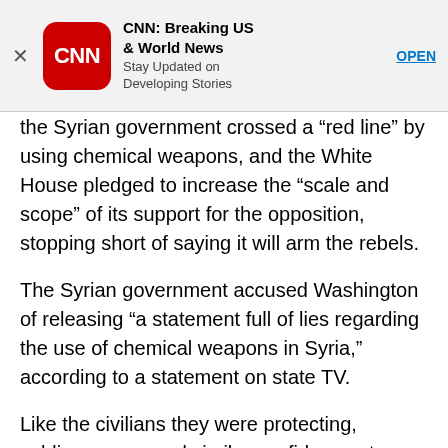[Figure (screenshot): CNN app advertisement banner with close button (X), CNN red rounded square logo, app title 'CNN: Breaking US & World News', subtitle 'Stay Updated on Developing Stories', and OPEN button link]
the Syrian government crossed a “red line” by using chemical weapons, and the White House pledged to increase the “scale and scope” of its support for the opposition, stopping short of saying it will arm the rebels.
The Syrian government accused Washington of releasing “a statement full of lies regarding the use of chemical weapons in Syria,” according to a statement on state TV.
Like the civilians they were protecting, soldiers expressed similar confidence at a checkpoint outside the opposition-held neighborhood of Jobar.